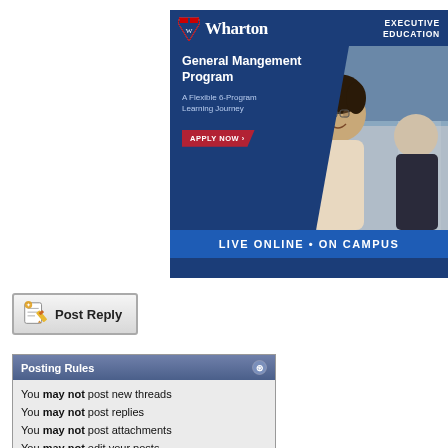[Figure (illustration): Wharton Executive Education advertisement banner for General Management Program. Dark blue background with Wharton logo, program title, 'A Flexible 6-Program Learning Journey' subtitle, red APPLY NOW button, photo of two professionals, and 'LIVE ONLINE • ON CAMPUS' footer bar.]
[Figure (illustration): Post Reply button with pencil/paper icon on the left and bold text 'Post Reply']
| Posting Rules |
| --- |
| You may not post new threads |
| You may not post replies |
| You may not post attachments |
| You may not edit your posts |